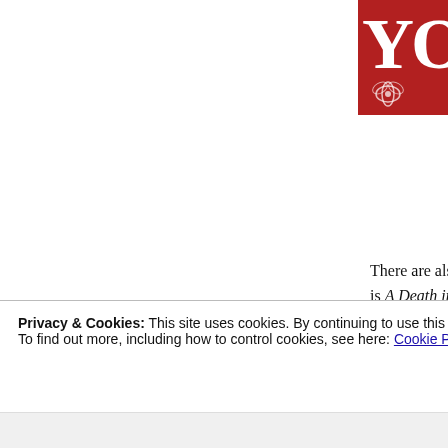[Figure (logo): Red badge with white text 'YO' and flower decoration, partial view of Yoko Ogawa book cover]
people's radar, I loved Yoko Ogawa's splendidly sinister matryoshka doll of a collection, Revenge.
There are also a couple of books I came to late, first is A Death in the Family, the first part of Karl Ove Knausgaard's six-volume autobiographical fiction, My Struggle. I've also read in Love, which was released in an English translation. I was mesmerised by A Death in the Family. The Sydney Review published a brilliant review of the two of them b... read one piece about Knausgaard it's the one to articulate about the reflexiveness of Knausgaar...
Privacy & Cookies: This site uses cookies. By continuing to use this website, you agree to their use.
To find out more, including how to control cookies, see here: Cookie Policy
Close and accept